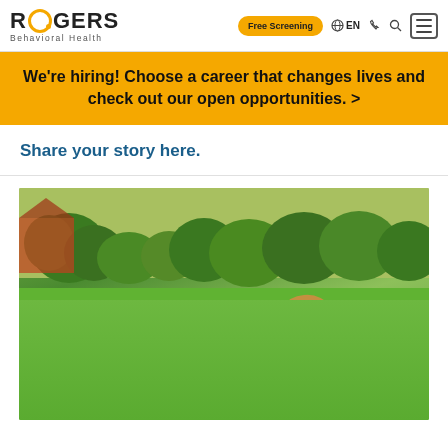ROGERS Behavioral Health — Free Screening | EN navigation bar
We're hiring! Choose a career that changes lives and check out our open opportunities. >
Share your story here.
[Figure (photo): Young woman with long blonde hair sitting on green grass in a park/backyard, petting a small white fluffy dog (poodle mix). Trees and playground equipment visible in background.]